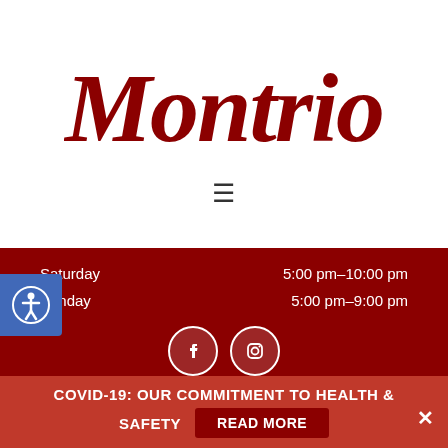[Figure (logo): Montrio restaurant logo in dark red cursive script]
[Figure (other): Hamburger menu icon (three horizontal lines)]
Saturday    5:00 pm–10:00 pm
Sunday    5:00 pm–9:00 pm
[Figure (other): Accessibility icon (blue circle with person) and social media icons for Facebook and Instagram]
Don't Miss Out
Sign up for the latest news and offers
Your email address
COVID-19: OUR COMMITMENT TO HEALTH & SAFETY   READ MORE